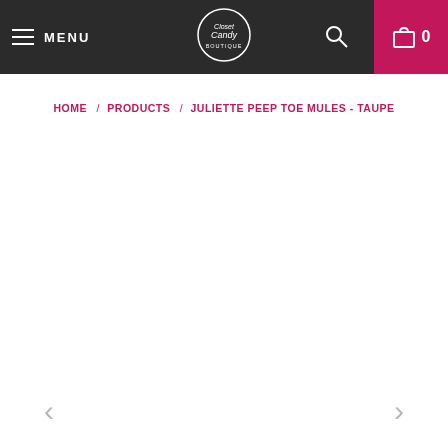MENU | Closet Candy | Search | Cart 0
HOME / PRODUCTS / JULIETTE PEEP TOE MULES - TAUPE